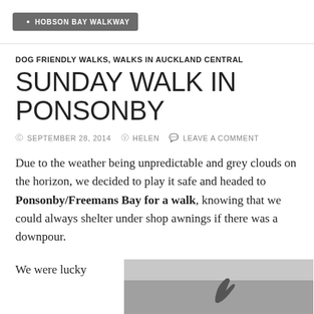HOBSON BAY WALKWAY
DOG FRIENDLY WALKS, WALKS IN AUCKLAND CENTRAL
SUNDAY WALK IN PONSONBY
SEPTEMBER 28, 2014  HELEN  LEAVE A COMMENT
Due to the weather being unpredictable and grey clouds on the horizon, we decided to play it safe and headed to Ponsonby/Freemans Bay for a walk, knowing that we could always shelter under shop awnings if there was a downpour.
We were lucky
[Figure (photo): A greyscale photo showing a bird or similar subject against a sky background]